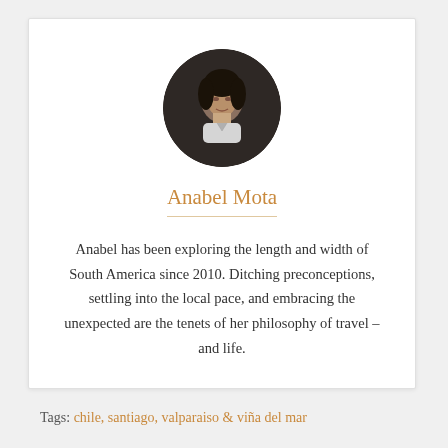[Figure (photo): Circular profile photo of Anabel Mota, a woman with dark hair against a dark background]
Anabel Mota
Anabel has been exploring the length and width of South America since 2010. Ditching preconceptions, settling into the local pace, and embracing the unexpected are the tenets of her philosophy of travel – and life.
Tags:  chile,  santiago,  valparaiso & viña del mar